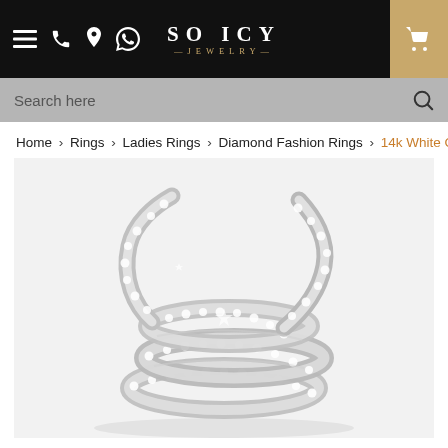SO ICY JEWELRY — Navigation header with menu, phone, location, WhatsApp icons and shopping cart
Search here
Home > Rings > Ladies Rings > Diamond Fashion Rings > 14k White G
[Figure (photo): A 14k white gold diamond snake coil fashion ring covered in pavé-set round diamonds, photographed on a white background. The ring spirals multiple times with two pointed ends extending upward.]